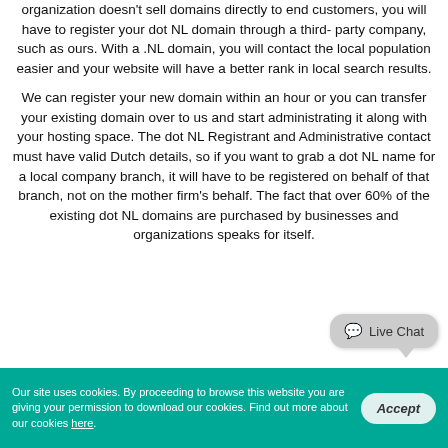organization doesn't sell domains directly to end customers, you will have to register your dot NL domain through a third-party company, such as ours. With a .NL domain, you will contact the local population easier and your website will have a better rank in local search results.
We can register your new domain within an hour or you can transfer your existing domain over to us and start administrating it along with your hosting space. The dot NL Registrant and Administrative contact must have valid Dutch details, so if you want to grab a dot NL name for a local company branch, it will have to be registered on behalf of that branch, not on the mother firm's behalf. The fact that over 60% of the existing dot NL domains are purchased by businesses and organizations speaks for itself.
[Figure (other): Live Chat speech bubble widget in bottom right area]
Our site uses cookies. By proceeding to browse this website you are giving your permission to download our cookies. Find out more about our cookies here.